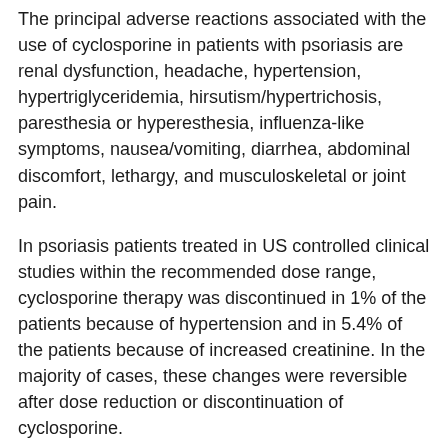The principal adverse reactions associated with the use of cyclosporine in patients with psoriasis are renal dysfunction, headache, hypertension, hypertriglyceridemia, hirsutism/hypertrichosis, paresthesia or hyperesthesia, influenza-like symptoms, nausea/vomiting, diarrhea, abdominal discomfort, lethargy, and musculoskeletal or joint pain.
In psoriasis patients treated in US controlled clinical studies within the recommended dose range, cyclosporine therapy was discontinued in 1% of the patients because of hypertension and in 5.4% of the patients because of increased creatinine. In the majority of cases, these changes were reversible after dose reduction or discontinuation of cyclosporine.
There has been one reported death associated with the use of cyclosporine in psoriasis. A 27-year-old male developed renal deterioration and was continued on cyclosporine. He had progressive renal failure leading to death.
Frequency and severity of serum creatinine increases with dose and duration of cyclosporine therapy. These changes are likely to be dose dependent and reversible.